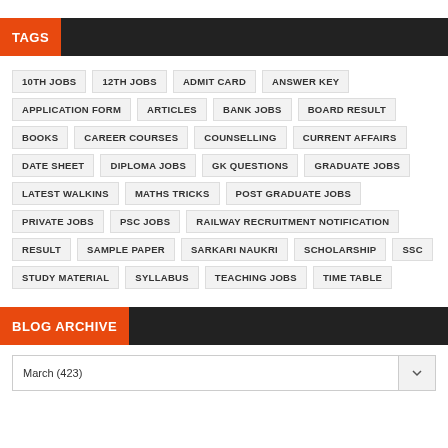TAGS
10TH JOBS
12TH JOBS
ADMIT CARD
ANSWER KEY
APPLICATION FORM
ARTICLES
BANK JOBS
BOARD RESULT
BOOKS
CAREER COURSES
COUNSELLING
CURRENT AFFAIRS
DATE SHEET
DIPLOMA JOBS
GK QUESTIONS
GRADUATE JOBS
LATEST WALKINS
MATHS TRICKS
POST GRADUATE JOBS
PRIVATE JOBS
PSC JOBS
RAILWAY RECRUITMENT NOTIFICATION
RESULT
SAMPLE PAPER
SARKARI NAUKRI
SCHOLARSHIP
SSC
STUDY MATERIAL
SYLLABUS
TEACHING JOBS
TIME TABLE
BLOG ARCHIVE
March (423)